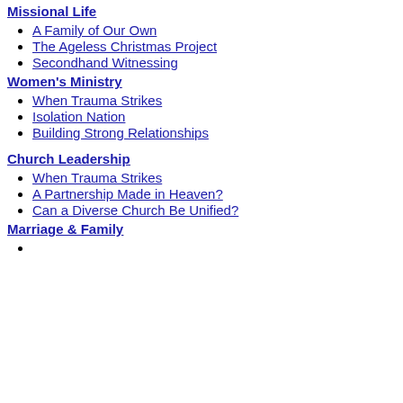Missional Life
A Family of Our Own
The Ageless Christmas Project
Secondhand Witnessing
Women's Ministry
When Trauma Strikes
Isolation Nation
Building Strong Relationships
Church Leadership
When Trauma Strikes
A Partnership Made in Heaven?
Can a Diverse Church Be Unified?
Marriage & Family